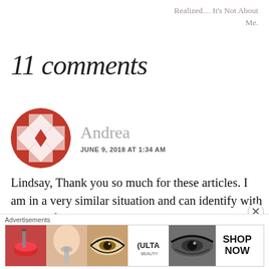Realized… It's Not About Me.
11 comments
[Figure (illustration): Circular avatar with red/white geometric quilt-like pattern]
Andrea
JUNE 9, 2018 AT 1:34 AM
Lindsay, Thank you so much for these articles. I am in a very similar situation and can identify with this and find
[Figure (photo): Ulta Beauty advertisement banner with makeup product images and SHOP NOW button]
Advertisements